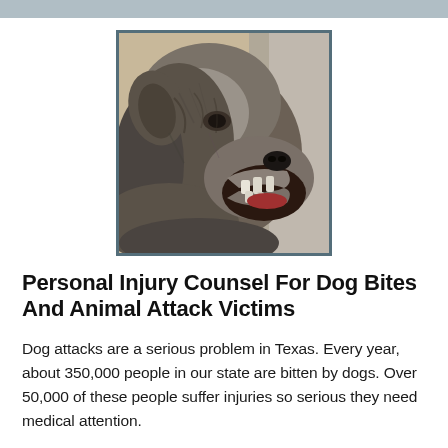[Figure (photo): Close-up photo of a snarling dog with mouth open wide, showing teeth, gray and brindle fur, aggressive expression, blurred background]
Personal Injury Counsel For Dog Bites And Animal Attack Victims
Dog attacks are a serious problem in Texas. Every year, about 350,000 people in our state are bitten by dogs. Over 50,000 of these people suffer injuries so serious they need medical attention.